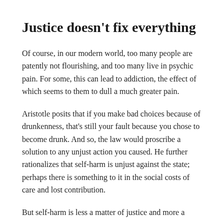Justice doesn't fix everything
Of course, in our modern world, too many people are patently not flourishing, and too many live in psychic pain. For some, this can lead to addiction, the effect of which seems to them to dull a much greater pain.
Aristotle posits that if you make bad choices because of drunkenness, that's still your fault because you chose to become drunk. And so, the law would proscribe a solution to any unjust action you caused. He further rationalizes that self-harm is unjust against the state; perhaps there is something to it in the social costs of care and lost contribution.
But self-harm is less a matter of justice and more a